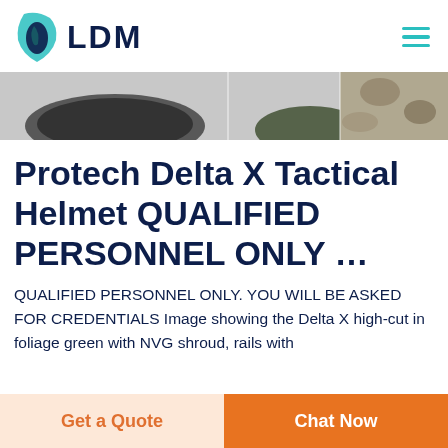LDM
[Figure (photo): Product image strip showing tactical helmets and camouflage gear partially visible at top of page]
Protech Delta X Tactical Helmet QUALIFIED PERSONNEL ONLY …
QUALIFIED PERSONNEL ONLY. YOU WILL BE ASKED FOR CREDENTIALS Image showing the Delta X high-cut in foliage green with NVG shroud, rails with
[Figure (other): Get a Quote button]
[Figure (other): Chat Now button]